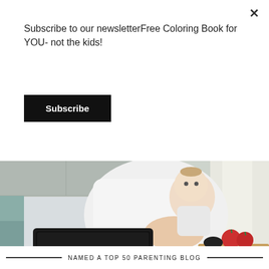Subscribe to our newsletterFree Coloring Book for YOU- not the kids!
Subscribe
[Figure (photo): A mother in a white top holding a baby while working on a laptop in a kitchen. A cutting board with tomatoes is visible. The watermark 'Paulabcoaching.com' appears in magenta/purple text at the bottom right of the image.]
NAMED A TOP 50 PARENTING BLOG